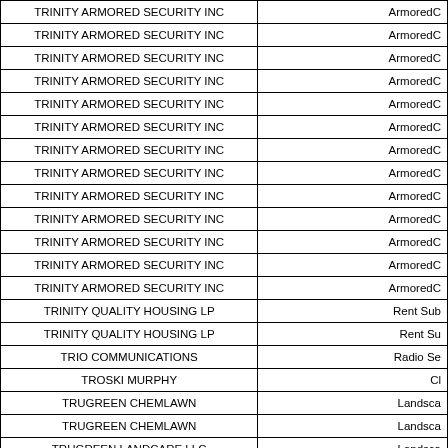| Vendor Name | Category |
| --- | --- |
| TRINITY ARMORED SECURITY INC | ArmoredC |
| TRINITY ARMORED SECURITY INC | ArmoredC |
| TRINITY ARMORED SECURITY INC | ArmoredC |
| TRINITY ARMORED SECURITY INC | ArmoredC |
| TRINITY ARMORED SECURITY INC | ArmoredC |
| TRINITY ARMORED SECURITY INC | ArmoredC |
| TRINITY ARMORED SECURITY INC | ArmoredC |
| TRINITY ARMORED SECURITY INC | ArmoredC |
| TRINITY ARMORED SECURITY INC | ArmoredC |
| TRINITY ARMORED SECURITY INC | ArmoredC |
| TRINITY ARMORED SECURITY INC | ArmoredC |
| TRINITY ARMORED SECURITY INC | ArmoredC |
| TRINITY ARMORED SECURITY INC | ArmoredC |
| TRINITY QUALITY HOUSING LP | Rent Sub |
| TRINITY QUALITY HOUSING LP | Rent Su |
| TRIO COMMUNICATIONS | Radio Se |
| TROSKI MURPHY | Cl |
| TRUGREEN CHEMLAWN | Landsca |
| TRUGREEN CHEMLAWN | Landsca |
| TRUGREEN LANDCARE LLC | Landsca |
| TRUGREEN LANDCARE LLC | Landsca |
| TX DEPT OF FAMILY & PROTECTIVE SRVS | Professi |